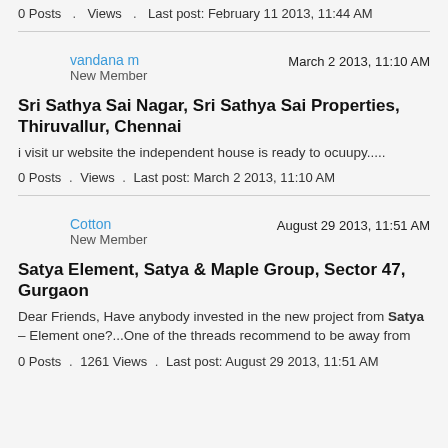0 Posts . Views . Last post: February 11 2013, 11:44 AM
vandana m
New Member
March 2 2013, 11:10 AM
Sri Sathya Sai Nagar, Sri Sathya Sai Properties, Thiruvallur, Chennai
i visit ur website the independent house is ready to ocuupy.....
0 Posts . Views . Last post: March 2 2013, 11:10 AM
Cotton
New Member
August 29 2013, 11:51 AM
Satya Element, Satya & Maple Group, Sector 47, Gurgaon
Dear Friends, Have anybody invested in the new project from Satya – Element one?...One of the threads recommend to be away from
0 Posts . 1261 Views . Last post: August 29 2013, 11:51 AM